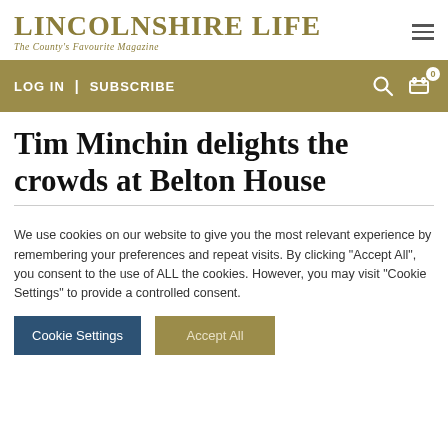LINCOLNSHIRE LIFE — The County's Favourite Magazine
LOG IN | SUBSCRIBE
Tim Minchin delights the crowds at Belton House
We use cookies on our website to give you the most relevant experience by remembering your preferences and repeat visits. By clicking "Accept All", you consent to the use of ALL the cookies. However, you may visit "Cookie Settings" to provide a controlled consent.